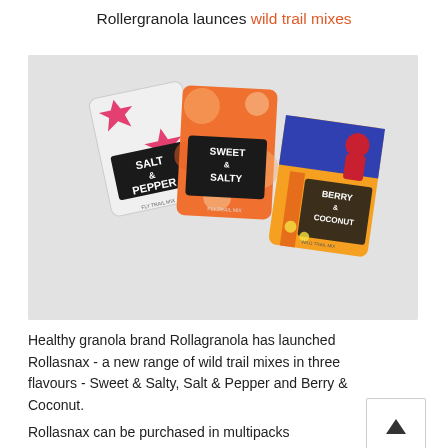Rollergranola launces wild trail mixes
[Figure (photo): Three Rollasnax product pouches displayed: Salt & Pepper (white with pink star design), Sweet & Salty (orange and pink swirl design), and Berry & Coconut (blue, orange and yellow with illustrated character)]
Healthy granola brand Rollagranola has launched Rollasnax - a new range of wild trail mixes in three flavours - Sweet & Salty, Salt & Pepper and Berry & Coconut.
Rollasnax can be purchased in multipacks